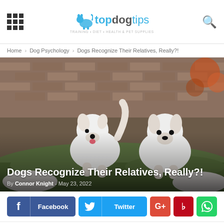topdogtips
Home › Dog Psychology › Dogs Recognize Their Relatives, Really?!
[Figure (photo): Two fluffy white puppies playing on grass with a brown brick wall background. One puppy's tail is raised, the other faces the camera.]
Dogs Recognize Their Relatives, Really?!
By Connor Knight - May 23, 2022